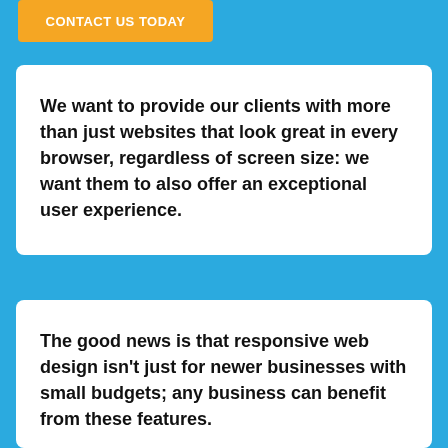CONTACT US TODAY
We want to provide our clients with more than just websites that look great in every browser, regardless of screen size: we want them to also offer an exceptional user experience.
The good news is that responsive web design isn't just for newer businesses with small budgets; any business can benefit from these features.